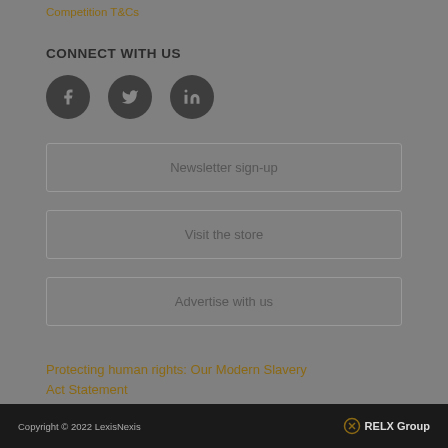Competition T&Cs
CONNECT WITH US
[Figure (other): Three circular social media icon buttons: Facebook, Twitter, LinkedIn]
Newsletter sign-up
Visit the store
Advertise with us
Protecting human rights: Our Modern Slavery Act Statement
Copyright © 2022 LexisNexis   RELX Group